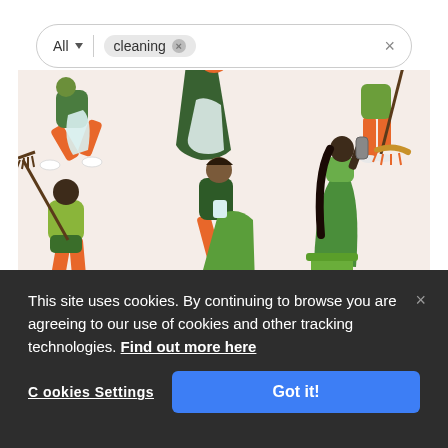[Figure (screenshot): Search bar with 'All' dropdown and 'cleaning' filter tag with an X button, and a close X on the right]
[Figure (illustration): Clean Character Set illustration showing people in green and orange outfits doing cleaning activities — sweeping, collecting trash, recycling — on a beige/pink background. Text reads 'CLEAN CHARACTER SET' and 'VOXELS' watermark.]
This site uses cookies. By continuing to browse you are agreeing to our use of cookies and other tracking technologies. Find out more here
Cookies Settings
Got it!